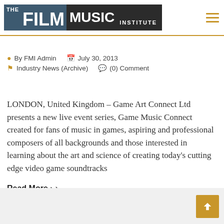[Figure (logo): The Film Music Institute logo with dark blue/gray and dark block background]
By FMI Admin   July 30, 2013
Industry News (Archive)   (0) Comment
LONDON, United Kingdom – Game Art Connect Ltd presents a new live event series, Game Music Connect created for fans of music in games, aspiring and professional composers of all backgrounds and those interested in learning about the art and science of creating today's cutting edge video game soundtracks
Read More >